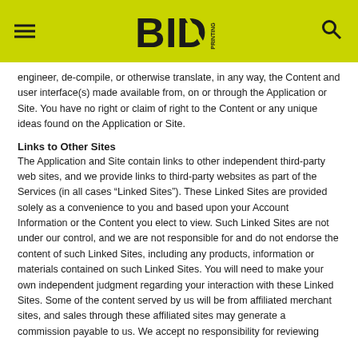BID [logo]
engineer, de-compile, or otherwise translate, in any way, the Content and user interface(s) made available from, on or through the Application or Site. You have no right or claim of right to the Content or any unique ideas found on the Application or Site.
Links to Other Sites
The Application and Site contain links to other independent third-party web sites, and we provide links to third-party websites as part of the Services (in all cases “Linked Sites”). These Linked Sites are provided solely as a convenience to you and based upon your Account Information or the Content you elect to view. Such Linked Sites are not under our control, and we are not responsible for and do not endorse the content of such Linked Sites, including any products, information or materials contained on such Linked Sites. You will need to make your own independent judgment regarding your interaction with these Linked Sites. Some of the content served by us will be from affiliated merchant sites, and sales through these affiliated sites may generate a commission payable to us. We accept no responsibility for reviewing